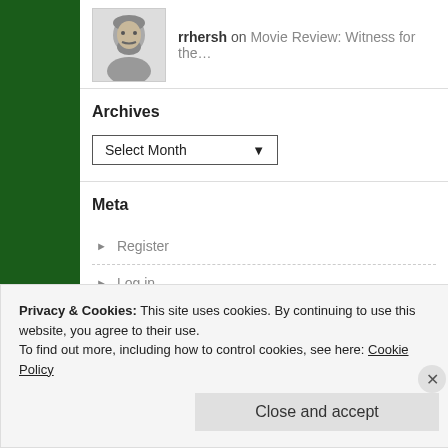rrhersh on Movie Review: Witness for the…
Archives
[Figure (other): Select Month dropdown widget]
Meta
Register
Log in
Entries feed
Privacy & Cookies: This site uses cookies. By continuing to use this website, you agree to their use.
To find out more, including how to control cookies, see here: Cookie Policy
Close and accept